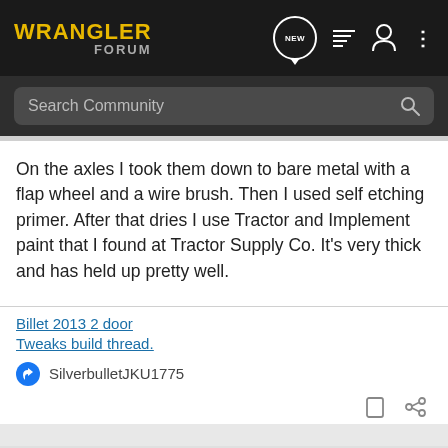WRANGLER FORUM
On the axles I took them down to bare metal with a flap wheel and a wire brush. Then I used self etching primer. After that dries I use Tractor and Implement paint that I found at Tractor Supply Co. It's very thick and has held up pretty well.
Billet 2013 2 door
Tweaks build thread.
SilverbulletJKU1775
[Figure (infographic): Overland Expo East 2022 advertisement banner: October 7-9, Arrington, VA. Plan Your Adventure.]